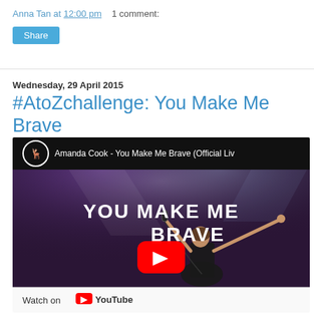Anna Tan at 12:00 pm   1 comment:
Share
Wednesday, 29 April 2015
#AtoZchallenge: You Make Me Brave
[Figure (screenshot): YouTube video embed showing Amanda Cook - You Make Me Brave (Official Live) with a concert scene thumbnail, a woman singing with arms raised, large white text reading YOU MAKE ME BRAVE, a red YouTube play button in the center, and a Watch on YouTube bar at the bottom.]